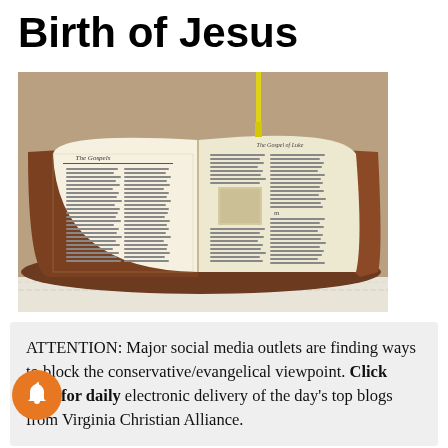Birth of Jesus
[Figure (photo): Open antique Bible with two columns of old text visible on yellowed pages, resting on a wooden surface with a lace doily visible below]
ATTENTION: Major social media outlets are finding ways to block the conservative/evangelical viewpoint. Click here for daily electronic delivery of the day's top blogs from Virginia Christian Alliance.